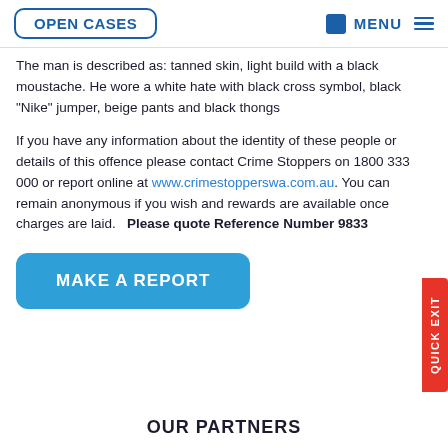OPEN CASES | MENU
The man is described as: tanned skin, light build with a black moustache. He wore a white hate with black cross symbol, black "Nike" jumper, beige pants and black thongs
If you have any information about the identity of these people or details of this offence please contact Crime Stoppers on 1800 333 000 or report online at www.crimestopperswa.com.au. You can remain anonymous if you wish and rewards are available once charges are laid.   Please quote Reference Number 9833
MAKE A REPORT
OUR PARTNERS